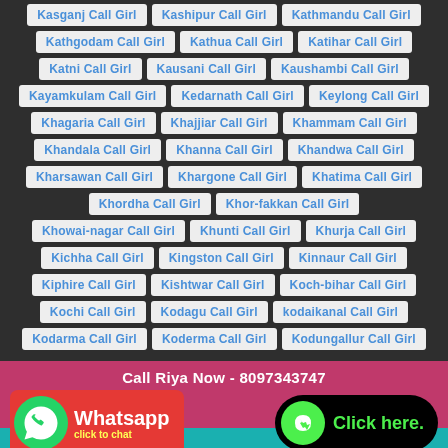Kasganj Call Girl | Kashipur Call Girl | Kathmandu Call Girl
Kathgodam Call Girl | Kathua Call Girl | Katihar Call Girl
Katni Call Girl | Kausani Call Girl | Kaushambi Call Girl
Kayamkulam Call Girl | Kedarnath Call Girl | Keylong Call Girl
Khagaria Call Girl | Khajjiar Call Girl | Khammam Call Girl
Khandala Call Girl | Khanna Call Girl | Khandwa Call Girl
Kharsawan Call Girl | Khargone Call Girl | Khatima Call Girl
Khordha Call Girl | Khor-fakkan Call Girl
Khowai-nagar Call Girl | Khunti Call Girl | Khurja Call Girl
Kichha Call Girl | Kingston Call Girl | Kinnaur Call Girl
Kiphire Call Girl | Kishtwar Call Girl | Koch-bihar Call Girl
Kochi Call Girl | Kodagu Call Girl | kodaikanal Call Girl
Kodarma Call Girl | Koderma Call Girl | Kodungallur Call Girl
Call Riya Now - 8097343747
WhatsApp | Click here.
WhatsApp To Riya - 8097343747